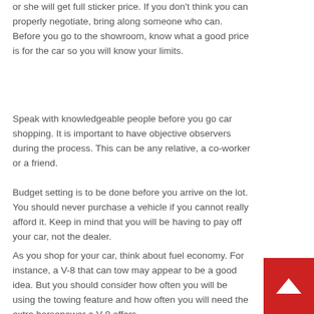or she will get full sticker price. If you don't think you can properly negotiate, bring along someone who can. Before you go to the showroom, know what a good price is for the car so you will know your limits.
Speak with knowledgeable people before you go car shopping. It is important to have objective observers during the process. This can be any relative, a co-worker or a friend.
Budget setting is to be done before you arrive on the lot. You should never purchase a vehicle if you cannot really afford it. Keep in mind that you will be having to pay off your car, not the dealer.
As you shop for your car, think about fuel economy. For instance, a V-8 that can tow may appear to be a good idea. But you should consider how often you will be using the towing feature and how often you will need the extra horsepower a V-8 offers.
If you don't know how to deal with sales pitches that are high pressure, get a companion to shop with you.
[Figure (other): Red scroll-to-top button with white upward arrow in bottom-right corner]